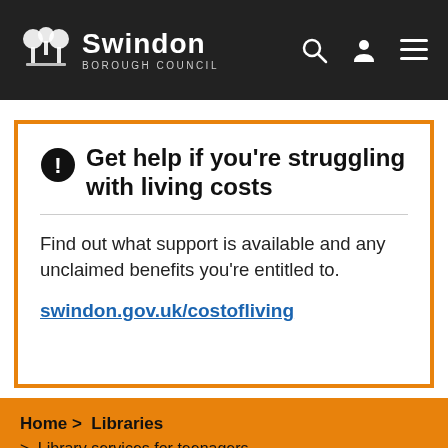Swindon Borough Council
Get help if you're struggling with living costs
Find out what support is available and any unclaimed benefits you’re entitled to.
swindon.gov.uk/costofliving
Home > Libraries > Library services for teenagers